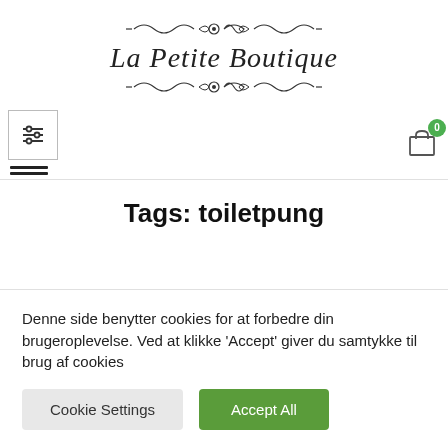[Figure (logo): La Petite Boutique logo with decorative ornamental flourishes above and below the brand name in italic serif font]
[Figure (other): Navigation bar with filter/sliders icon on the left and shopping cart icon with badge '0' on the right]
Tags: toiletpung
Denne side benytter cookies for at forbedre din brugeroplevelse. Ved at klikke 'Accept' giver du samtykke til brug af cookies